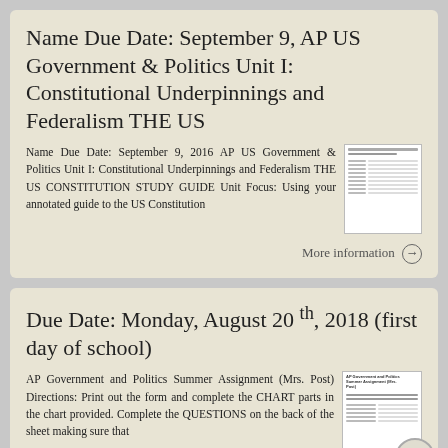Name Due Date: September 9, AP US Government & Politics Unit I: Constitutional Underpinnings and Federalism THE US
Name Due Date: September 9, 2016 AP US Government & Politics Unit I: Constitutional Underpinnings and Federalism THE US CONSTITUTION STUDY GUIDE Unit Focus: Using your annotated guide to the US Constitution
More information →
Due Date: Monday, August 20 th, 2018 (first day of school)
AP Government and Politics Summer Assignment (Mrs. Post) Directions: Print out the form and complete the CHART parts in the chart provided. Complete the QUESTIONS on the back of the sheet making sure that